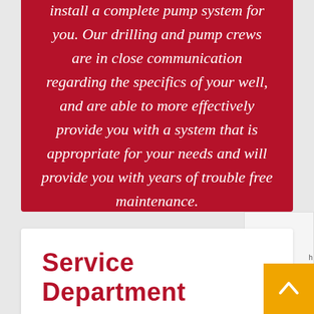install a complete pump system for you. Our drilling and pump crews are in close communication regarding the specifics of your well, and are able to more effectively provide you with a system that is appropriate for your needs and will provide you with years of trouble free maintenance.
Service Department
Peters' Drilling has the largest service